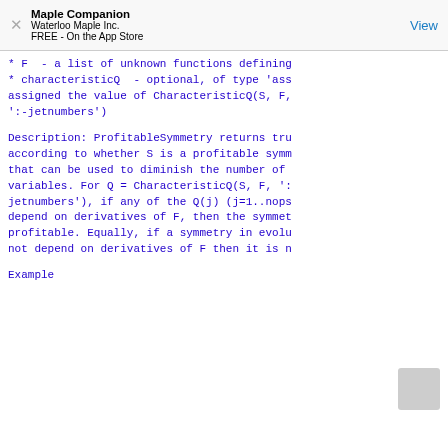Maple Companion
Waterloo Maple Inc.
FREE - On the App Store
View
* F  - a list of unknown functions defining
* characteristicQ  - optional, of type 'ass
assigned the value of CharacteristicQ(S, F,
':-jetnumbers')
Description: ProfitableSymmetry returns tru
according to whether S is a profitable symm
that can be used to diminish the number of
variables. For Q = CharacteristicQ(S, F, ':
jetnumbers'), if any of the Q(j) (j=1..nops
depend on derivatives of F, then the symmet
profitable. Equally, if a symmetry in evolu
not depend on derivatives of F then it is n
Example